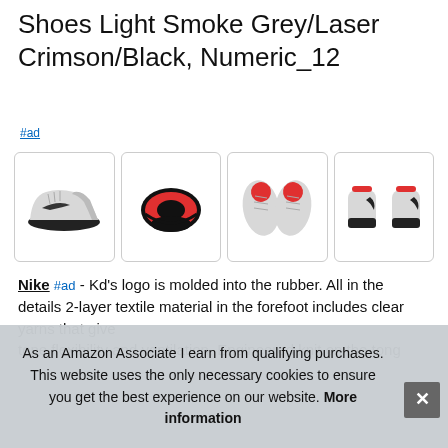Shoes Light Smoke Grey/Laser Crimson/Black, Numeric_12
#ad
[Figure (photo): Four thumbnail photos of Nike basketball shoes: side view, bottom sole view, top-down view, and rear view. Grey/crimson colorway.]
Nike #ad - Kd's logo is molded into the rubber. All in the details 2-layer textile material in the forefoot includes clear yarns that give tone flexibility and ventilation. Engineered knit on the tongue
As an Amazon Associate I earn from qualifying purchases. This website uses the only necessary cookies to ensure you get the best experience on our website. More information